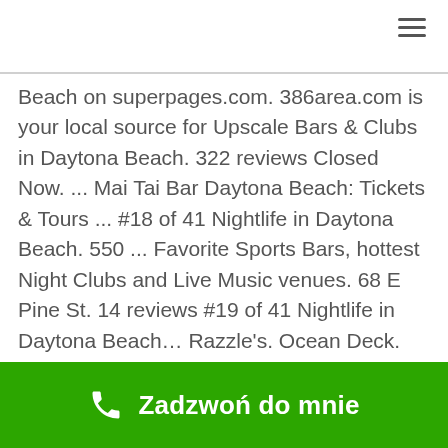[Figure (other): Hamburger menu icon (three horizontal lines) in top-right corner]
Beach on superpages.com. 386area.com is your local source for Upscale Bars & Clubs in Daytona Beach. 322 reviews Closed Now. ... Mai Tai Bar Daytona Beach: Tickets & Tours ... #18 of 41 Nightlife in Daytona Beach. 550 ... Favorite Sports Bars, hottest Night Clubs and Live Music venues. 68 E Pine St. 14 reviews #19 of 41 Nightlife in Daytona Beach… Razzle's. Ocean Deck. There were two thefts that occurred - two stolen phones. Reviews, photos, gay map, information. The patio DJ was incredible. 386area.com is your local source for Dance Bars & Clubs in Daytona Beach. Visit Daytona Beach, Florida today. Learn More. Top Daytona Beach Bars & Clubs: See reviews and
Zadzwoń do mnie